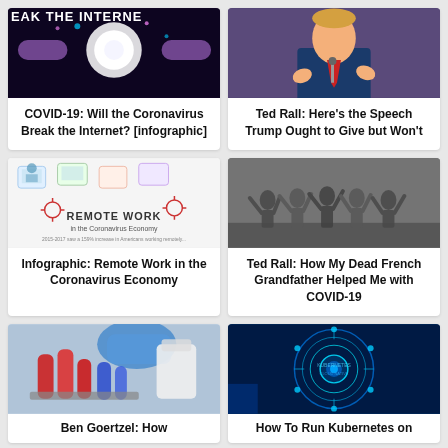[Figure (photo): Dark background with glowing internet/coronavirus graphic and text 'BREAK THE INTERNET']
[Figure (photo): Photo of Donald Trump speaking at a podium]
COVID-19: Will the Coronavirus Break the Internet? [infographic]
Ted Rall: Here’s the Speech Trump Ought to Give but Won’t
[Figure (infographic): Infographic: Remote Work in the Coronavirus Economy, showing remote work statistics]
[Figure (photo): Black and white historical photo of soldiers with hands raised]
Infographic: Remote Work in the Coronavirus Economy
Ted Rall: How My Dead French Grandfather Helped Me with COVID-19
[Figure (photo): Lab photo showing red and blue tubes/vials with gloved hands]
[Figure (photo): Blue glowing digital/technology circle graphic]
Ben Goertzel: How
How To Run Kubernetes on